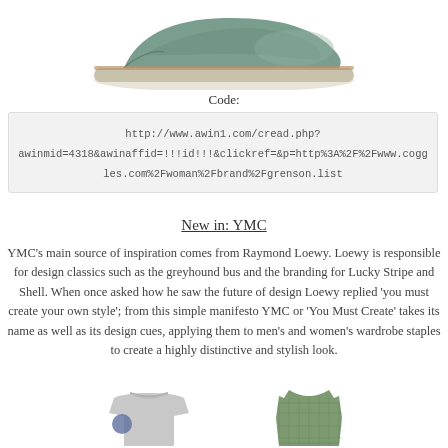[Figure (photo): A teal/sage green suede shoe with white platform sole, cropped at top of page]
Code:
http://www.awin1.com/cread.php?awinmid=4318&awinaffid=!!!id!!!&clickref=&p=http%3A%2F%2Fwww.coggles.com%2Fwoman%2Fbrand%2Fgrenson.list
New in: YMC
YMC's main source of inspiration comes from Raymond Loewy. Loewy is responsible for design classics such as the greyhound bus and the branding for Lucky Stripe and Shell. When once asked how he saw the future of design Loewy replied 'you must create your own style'; from this simple manifesto YMC or 'You Must Create' takes its name as well as its design cues, applying them to men's and women's wardrobe staples to create a highly distinctive and stylish look.
[Figure (photo): Grey crew neck sweatshirt/sweater with a circular patch on the arm]
[Figure (photo): Green/teal patterned sleeveless top or dress]